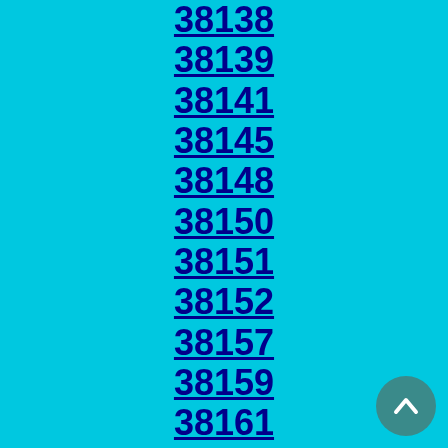38138
38139
38141
38145
38148
38150
38151
38152
38157
38159
38161
38163
38166
38167
38168
38173
38174